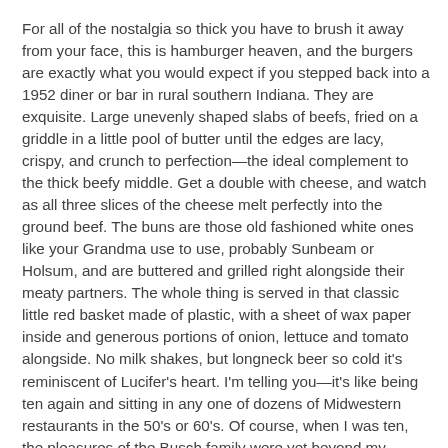For all of the nostalgia so thick you have to brush it away from your face, this is hamburger heaven, and the burgers are exactly what you would expect if you stepped back into a 1952 diner or bar in rural southern Indiana. They are exquisite. Large unevenly shaped slabs of beefs, fried on a griddle in a little pool of butter until the edges are lacy, crispy, and crunch to perfection—the ideal complement to the thick beefy middle. Get a double with cheese, and watch as all three slices of the cheese melt perfectly into the ground beef. The buns are those old fashioned white ones like your Grandma use to use, probably Sunbeam or Holsum, and are buttered and grilled right alongside their meaty partners. The whole thing is served in that classic little red basket made of plastic, with a sheet of wax paper inside and generous portions of onion, lettuce and tomato alongside. No milk shakes, but longneck beer so cold it's reminiscent of Lucifer's heart. I'm telling you—it's like being ten again and sitting in any one of dozens of Midwestern restaurants in the 50's or 60's. Of course, when I was ten, the pleasures of the Busch family were yet beyond my reach.